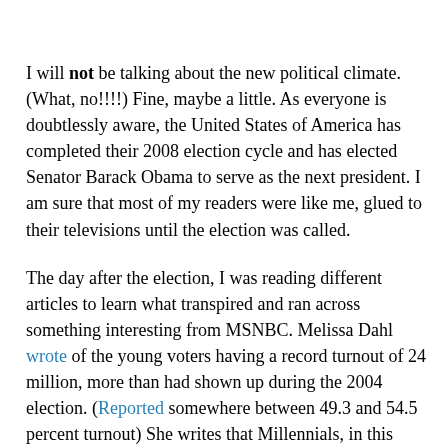I will not be talking about the new political climate. (What, no!!!!) Fine, maybe a little. As everyone is doubtlessly aware, the United States of America has completed their 2008 election cycle and has elected Senator Barack Obama to serve as the next president. I am sure that most of my readers were like me, glued to their televisions until the election was called.
The day after the election, I was reading different articles to learn what transpired and ran across something interesting from MSNBC. Melissa Dahl wrote of the young voters having a record turnout of 24 million, more than had shown up during the 2004 election. (Reported somewhere between 49.3 and 54.5 percent turnout) She writes that Millennials, in this election, bucked the common trend of mirrored results with those over 30 in favor of Senator Obama by a margin of 2-1. However, the most significant part of her article is not how they voted for but the way that this generation thinks and learns. She cites Morley Winograd, writer of Millennial